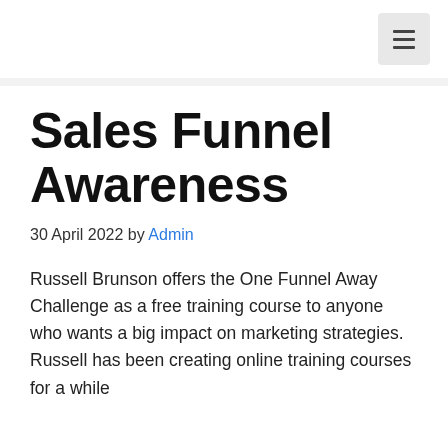≡
Sales Funnel Awareness
30 April 2022 by Admin
Russell Brunson offers the One Funnel Away Challenge as a free training course to anyone who wants a big impact on marketing strategies. Russell has been creating online training courses for a while